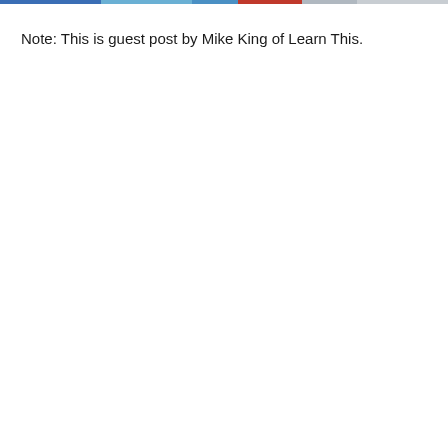(colored bar header)
Note: This is guest post by Mike King of Learn This.